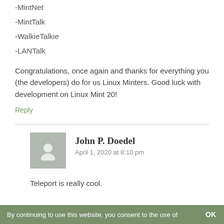-MintNet
-MintTalk
-WalkieTalkie
-LANTalk
Congratulations, once again and thanks for everything you (the developers) do for us Linux Minters. Good luck with development on Linux Mint 20!
Reply
John P. Doedel
April 1, 2020 at 8:10 pm
Teleport is really cool.
By continuing to use this website, you consent to the use of   OK